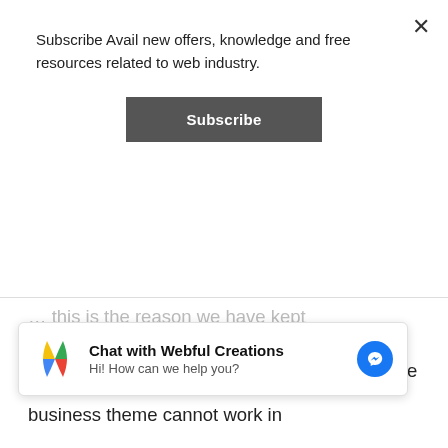Subscribe Avail new offers, knowledge and free resources related to web industry.
Subscribe
education WordPress themes separate from preschool WordPress themes. While this theme starts really nicely with good combination of blue and orange color scheme which is effective for these type of websites. With usage of great simple icons theme carry really simple and beautiful
Chat with Webful Creations
Hi! How can we help you?
business theme cannot work in